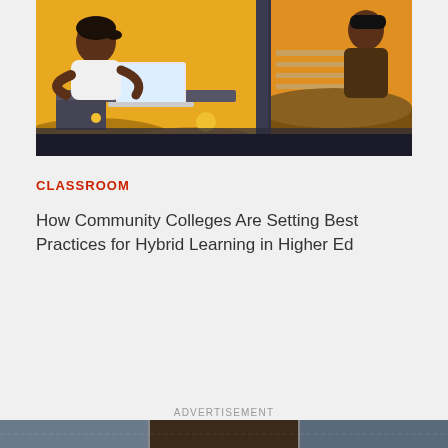[Figure (illustration): Illustration of two students working at desks with laptops in a hybrid learning setting. One student is in the foreground on the left, leaning over a desk with a laptop open. The other student is in the background on the right, also at a desk. The color palette features warm amber/gold, dark brown, and charcoal gray tones.]
CLASSROOM
How Community Colleges Are Setting Best Practices for Hybrid Learning in Higher Ed
ADVERTISEMENT
[Figure (photo): Partial advertisement image strip at the bottom of the page, partially visible.]